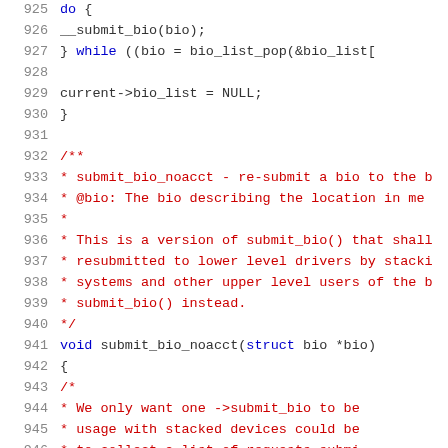[Figure (screenshot): Source code listing in C, lines 925-946, showing a do-while loop and submit_bio_noacct function with comments]